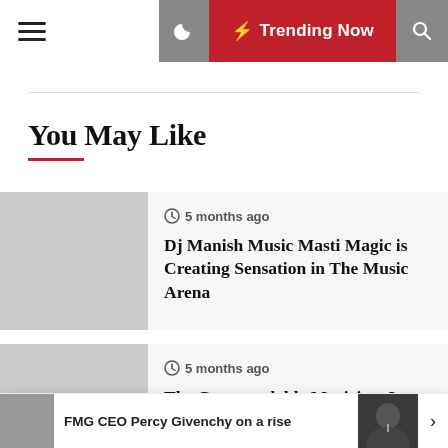Trending Now
You May Like
5 months ago
Dj Manish Music Masti Magic is Creating Sensation in The Music Arena
5 months ago
The Commendable Musician, Las Vegas Rapper, Going On his...
FMG CEO Percy Givenchy on a rise